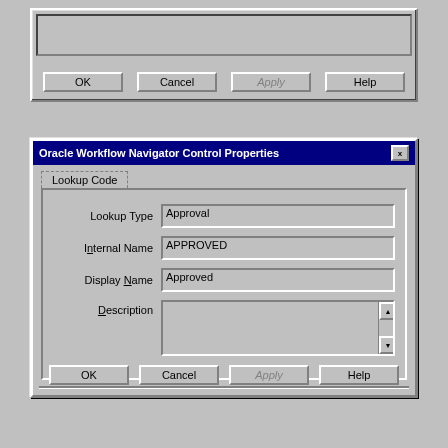[Figure (screenshot): Top portion of a Windows dialog box (clipped) showing OK, Cancel, Apply (greyed), and Help buttons]
[Figure (screenshot): Oracle Workflow Navigator Control Properties dialog with Lookup Code tab showing fields: Lookup Type=Approval, Internal Name=APPROVED, Display Name=Approved, Description=(empty). Buttons: OK, Cancel, Apply (greyed), Help.]